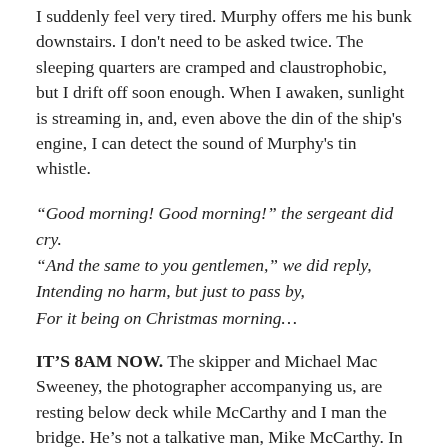I suddenly feel very tired. Murphy offers me his bunk downstairs. I don't need to be asked twice. The sleeping quarters are cramped and claustrophobic, but I drift off soon enough. When I awaken, sunlight is streaming in, and, even above the din of the ship's engine, I can detect the sound of Murphy's tin whistle.
“Good morning! Good morning!” the sergeant did cry.
“And the same to you gentlemen,” we did reply,
Intending no harm, but just to pass by,
For it being on Christmas morning…
IT’S 8AM NOW. The skipper and Michael Mac Sweeney, the photographer accompanying us, are resting below deck while McCarthy and I man the bridge. He’s not a talkative man, Mike McCarthy. In fact you’d get more chit-chat from a Mafia hood in an interrogation room. After a couple of failed opening gambits, I give up and find something to read. He watches television.
So engrossed is he in Ireland AM, and I in a copy of the Tide Tables 2011, that we scarcely notice a rigid inflatable boat from LE Emer speeding in our direction. It pulls alongside and two naval officers clamber aboard. Ensign Dubheasa Ni Cionnach and Petty Officer Jason Whelehan are conducting a routine inspection. They examine